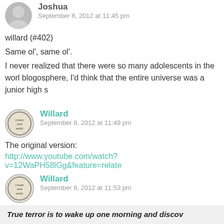Joshua
September 8, 2012 at 11:45 pm
willard (#402)
Same ol', same ol'.
I never realized that there were so many adolescents in the world. Reading the blogosphere, I'd think that the entire universe was a junior high s
Willard
September 8, 2012 at 11:49 pm
The original version:
http://www.youtube.com/watch?v=12WaPH58lGg&feature=relate
Willard
September 8, 2012 at 11:53 pm
#405
True terror is to wake up one morning and discov